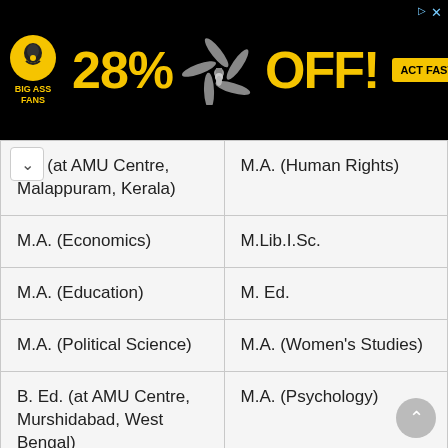[Figure (illustration): Advertisement banner for Big Ass Fans showing 28% OFF with a ceiling fan image and ACT FAST button on black background]
| Ed. (at AMU Centre, Malappuram, Kerala) | M.A. (Human Rights) |
| M.A. (Economics) | M.Lib.I.Sc. |
| M.A. (Education) | M. Ed. |
| M.A. (Political Science) | M.A. (Women's Studies) |
| B. Ed. (at AMU Centre, Murshidabad, West Bengal) | M.A. (Psychology) |